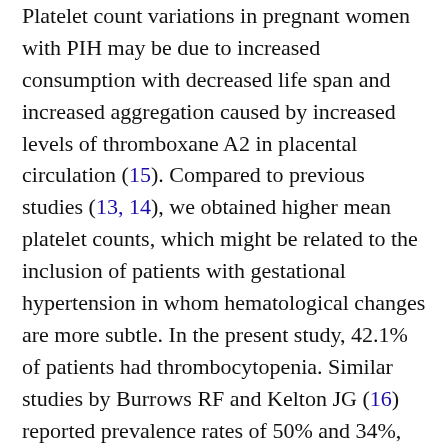Platelet count variations in pregnant women with PIH may be due to increased consumption with decreased life span and increased aggregation caused by increased levels of thromboxane A2 in placental circulation (15). Compared to previous studies (13, 14), we obtained higher mean platelet counts, which might be related to the inclusion of patients with gestational hypertension in whom hematological changes are more subtle. In the present study, 42.1% of patients had thrombocytopenia. Similar studies by Burrows RF and Kelton JG (16) reported prevalence rates of 50% and 34%, respectively.
  The mean platelet count in the present study (191 + 84 x 109cells/L) was similar to that in previous studies (13, 17, 18). In our study, ESR increased in few patients, but no ESR rise was seen